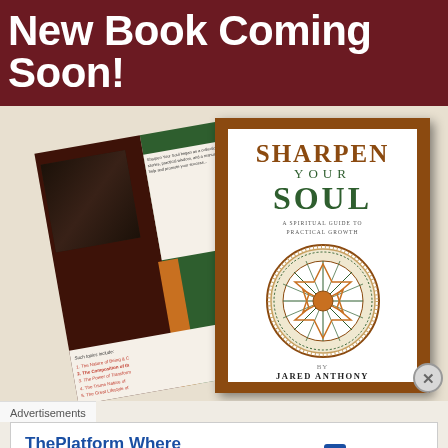New Book Coming Soon!
[Figure (photo): Two copies of the book 'Sharpen Your Soul: A Spiritual Guide to Practical Growth' by Jared Anthony shown at an angle. The front cover has an orange/brown background with white inner panel showing title text and a circular mandala/dreamcatcher-style diagram. The back cover is partially visible behind it showing a green and dark brown design with author photo and topic list.]
Advertisements
ThePlatform Where WordPress Works Best
[Figure (logo): Pressable logo with blue P icon and the word Pressable]